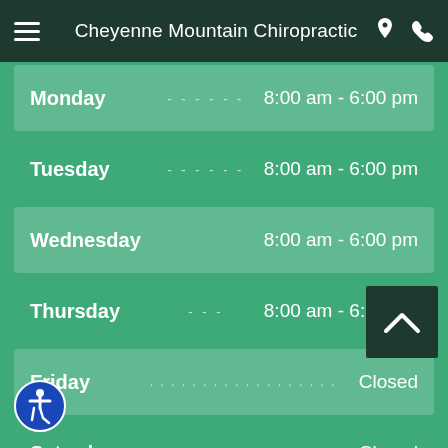Cheyenne Mountain Chiropractic
| Day | Hours |
| --- | --- |
| Monday | 8:00 am - 6:00 pm |
| Tuesday | 8:00 am - 6:00 pm |
| Wednesday | 8:00 am - 6:00 pm |
| Thursday | 8:00 am - 6:00 pm |
| Friday | Closed |
| Saturday | Closed |
| Sunday | Closed |